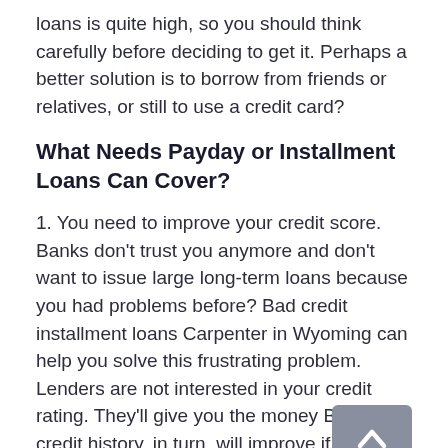loans is quite high, so you should think carefully before deciding to get it. Perhaps a better solution is to borrow from friends or relatives, or still to use a credit card?
What Needs Payday or Installment Loans Can Cover?
1. You need to improve your credit score. Banks don't trust you anymore and don't want to issue large long-term loans because you had problems before? Bad credit installment loans Carpenter in Wyoming can help you solve this frustrating problem. Lenders are not interested in your credit rating. They'll give you the money But your credit history, in turn, will improve if you pay back your loan without delay. And for banks, you are already a reliable borrower and can hope for bigger sums.
2. There is an unpredictable situation in your life that does not fit into your budget: health problems, car breakdown, and the need for urgent repairs at home, the need to buy